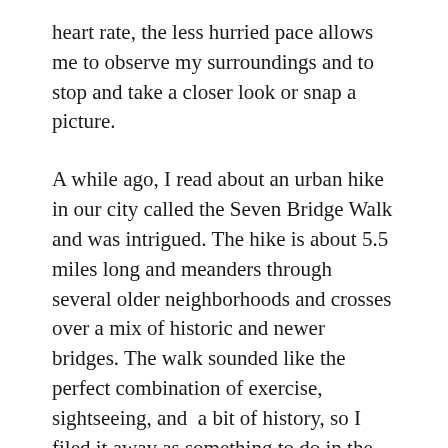heart rate, the less hurried pace allows me to observe my surroundings and to stop and take a closer look or snap a picture.
A while ago, I read about an urban hike in our city called the Seven Bridge Walk and was intrigued. The hike is about 5.5 miles long and meanders through several older neighborhoods and crosses over a mix of historic and newer bridges. The walk sounded like the perfect combination of exercise, sightseeing, and  a bit of history, so I filed it away as something to do in the spring.
Finally, last Tuesday, my husband and I decided it was the perfect day to put on our walking